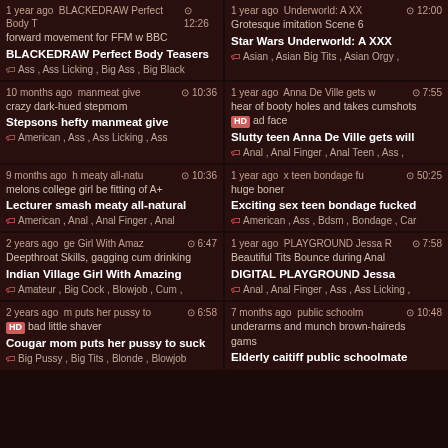1 year ago | BLACKEDRAW Perfect Body Teasers | 12:26 | forward movement for FFM w BBC | Ass, Ass Licking, Big Ass, Big Black
1 year ago | Star Wars Underworld: A XXX | 12:00 | Grotesque imitation Scene 6 | Asian, Asian Big Tits, Asian Orgy
10 months ago | Stepsons hefty manmeat give | 10:36 | crazy dark-hued stepmom | American, Ass, Ass Licking, Ass
1 year ago | Slutty teen Anna De Ville gets will | 7:55 | hear of booty holes and takes cumshots bad face | HD | Anal, Anal Finger, Anal Teen, Ass
9 months ago | Lecturer smash meaty all-natural | 10:36 | melons college girl be fitting of A+ | American, Anal, Anal Finger, Anal
1 year ago | Exciting sex teen bondage fucked | 50:25 | huge boner | American, Ass, Bdsm, Bondage, Car
2 years ago | Indian Village Girl With Amazing | 6:47 | Deepthroat Skills, gagging cum drinking | Amateur, Big Cock, Blowjob, Cum
1 year ago | DIGITAL PLAYGROUND Jessa | 7:58 | Beautiful Tits Bounce during Anal | Anal, Anal Finger, Ass, Ass Licking
2 years ago | Cougar mom puts her pussy to suck | 6:58 | HD bad little shaver | Big Pussy, Big Tits, Blonde, Blowjob
7 months ago | Elderly caitiff public schoolmate | 10:48 | underarms and munch brown-haireds gams | Elderly caitiff public schoolmate